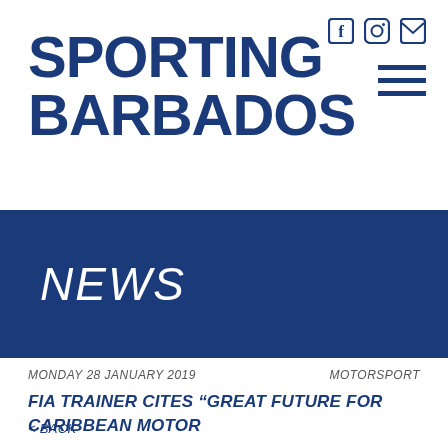SPORTING BARBADOS
[Figure (other): Social media icons: Facebook, Instagram, Email]
[Figure (other): Hamburger menu icon (three horizontal lines)]
NEWS
MONDAY 28 JANUARY 2019
MOTORSPORT
FIA TRAINER CITES “GREAT FUTURE FOR CARIBBEAN MOTOR SPORT”
< BACK